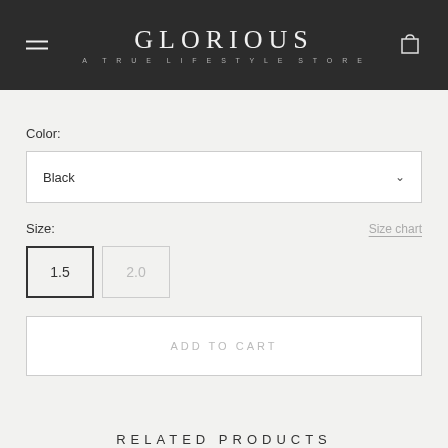GLORIOUS — A TRUE LIFESTYLE STORE
Color:
Black
Size:
Size chart
1.5
2.0
ADD TO CART
RELATED PRODUCTS